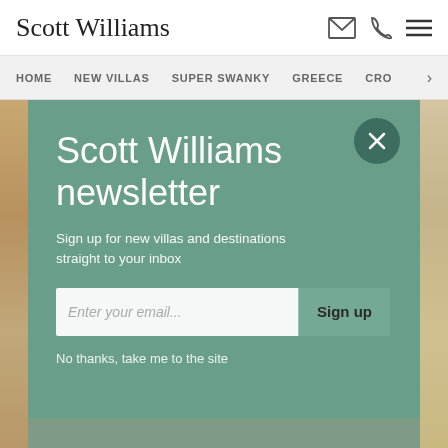Scott Williams
HOME  NEW VILLAS  SUPER SWANKY  GREECE  CRO
[Figure (screenshot): Newsletter signup overlay on Scott Williams villa rental website. Teal/green overlay panel with title 'Scott Williams newsletter', subtitle 'Sign up for new villas and destinations straight to your inbox', email input field, Sign up button, and 'No thanks, take me to the site' link. Dark teal circular close button top-right. Background shows villa/landscape photo.]
Scott Williams newsletter
Sign up for new villas and destinations straight to your inbox
Enter your email...
Sign up
No thanks, take me to the site